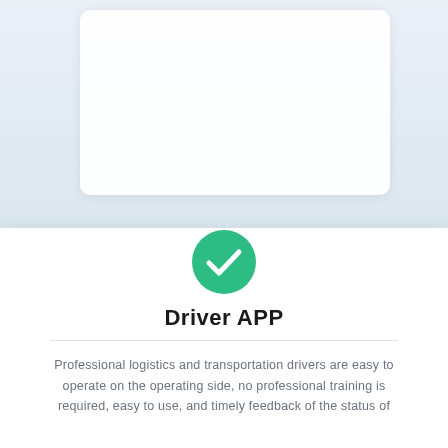[Figure (screenshot): Faded screenshots of a logistics/transportation management web dashboard and mobile app interface, shown in light blue-green tones as background illustration]
Driver APP
Professional logistics and transportation drivers are easy to operate on the operating side, no professional training is required, easy to use, and timely feedback of the status of